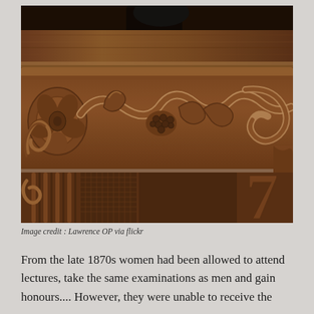[Figure (photo): Close-up photograph of ornately carved wooden furniture panel showing intricate scrollwork, floral, and vine decorative carvings in dark walnut/oak wood]
Image credit : Lawrence OP via flickr
From the late 1870s women had been allowed to attend lectures, take the same examinations as men and gain honours.... However, they were unable to receive the